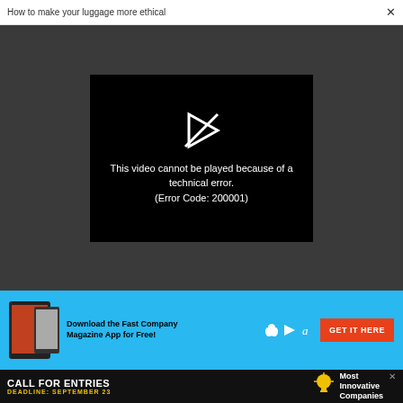How to make your luggage more ethical  ✕
[Figure (screenshot): Dark gray video player area with a black inner box showing a broken/error play icon and text: 'This video cannot be played because of a technical error. (Error Code: 200001)']
[Figure (screenshot): Fast Company Magazine App advertisement banner with blue background, tablet and phone device images, store icons (Apple, Google Play, Amazon), text 'Download the Fast Company Magazine App for Free!' and an orange 'GET IT HERE' button]
[Figure (screenshot): Black advertisement banner reading 'CALL FOR ENTRIES' with yellow text 'DEADLINE: SEPTEMBER 23', a lightbulb icon, and 'Most Innovative Companies' text on the right]